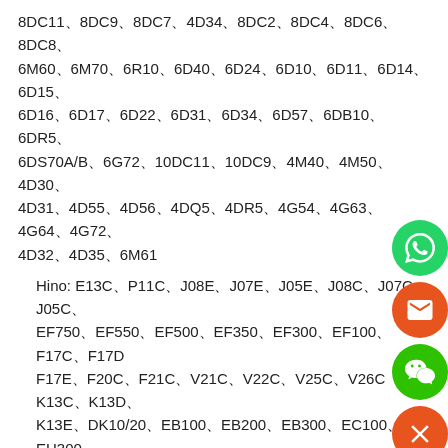8DC11、8DC9、8DC7、4D34、8DC2、8DC4、8DC6、8DC8、6M60、6M70、6R10、6D40、6D24、6D10、6D11、6D14、6D15、6D16、6D17、6D22、6D31、6D34、6D57、6DB10、6DR5、6DS70A/B、6G72、10DC11、10DC9、4M40、4M50、4D30、4D31、4D55、4D56、4DQ5、4DR5、4G54、4G63、4G64、4G72、4D32、4D35、6M61
Hino: E13C、P11C、J08E、J07E、J05E、J08C、J07C、J05C、EF750、EF550、EF500、EF350、EF300、EF100、F17C、F17D、F17E、F20C、F21C、V21C、V22C、V25C、V26C K13C、K13D、K13E、DK10/20、EB100、EB200、EB300、EC100、EH300、EH500、EH700、EK100、EK200、EK300、EL100、ER200、HO6C、HO6D、EP100、ED100、EM100、DM100、H07C、H07D、H07E、P09C、W06C、W06D、W06E、W04D、W04E
Isuzu: 6WG1、6WF1、6WA1、6HE1、6HH1、6HF1、6QA1、